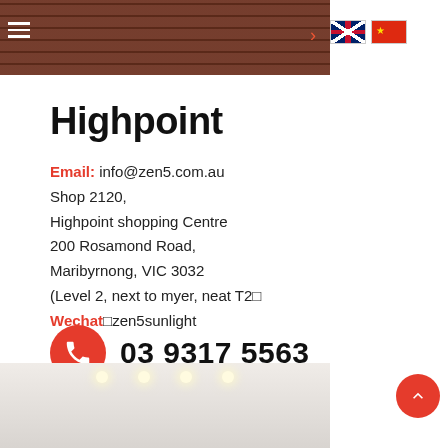[Figure (photo): Top banner photo of a brick wall building exterior]
Highpoint
Email: info@zen5.com.au
Shop 2120,
Highpoint shopping Centre
200 Rosamond Road,
Maribyrnong, VIC 3032
(Level 2, next to myer, neat T2)
Wechat: zen5sunlight
03 9317 5563
[Figure (photo): Bottom photo showing interior of shop with ceiling lights]